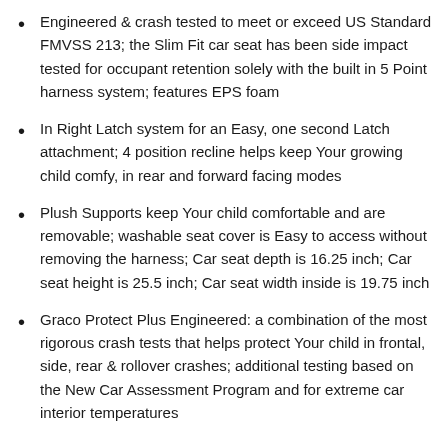Engineered & crash tested to meet or exceed US Standard FMVSS 213; the Slim Fit car seat has been side impact tested for occupant retention solely with the built in 5 Point harness system; features EPS foam
In Right Latch system for an Easy, one second Latch attachment; 4 position recline helps keep Your growing child comfy, in rear and forward facing modes
Plush Supports keep Your child comfortable and are removable; washable seat cover is Easy to access without removing the harness; Car seat depth is 16.25 inch; Car seat height is 25.5 inch; Car seat width inside is 19.75 inch
Graco Protect Plus Engineered: a combination of the most rigorous crash tests that helps protect Your child in frontal, side, rear & rollover crashes; additional testing based on the New Car Assessment Program and for extreme car interior temperatures